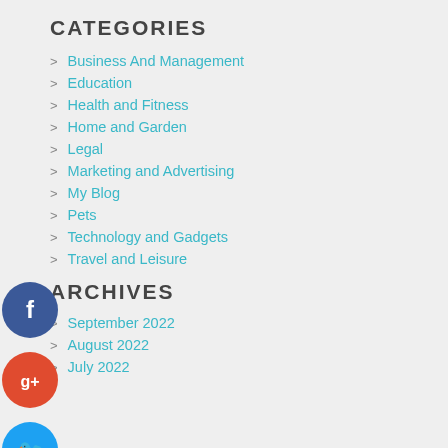CATEGORIES
Business And Management
Education
Health and Fitness
Home and Garden
Legal
Marketing and Advertising
My Blog
Pets
Technology and Gadgets
Travel and Leisure
[Figure (illustration): Social media icons: Facebook (blue circle), Google+ (red circle), Twitter (blue circle), Add/Plus (dark circle)]
ARCHIVES
September 2022
August 2022
July 2022